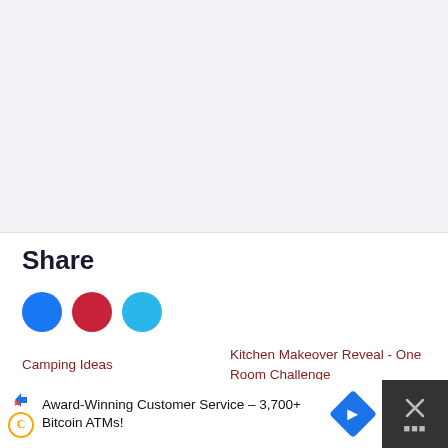[Figure (other): Light gray banner/placeholder area at top of page]
Share
[Figure (infographic): Three social media share circles: blue (Facebook), red (Pinterest), light blue (Twitter)]
Camping Ideas
Kitchen Makeover Reveal - One Room Challenge
Kitchen Cabinet Makeover -One Room Challenge
[Figure (infographic): Share buttons: blue Share 48, red Pin 1.5K, blue Tweet]
[Figure (infographic): Advertisement banner: Award-Winning Customer Service - 3,700+ Bitcoin ATMs!]